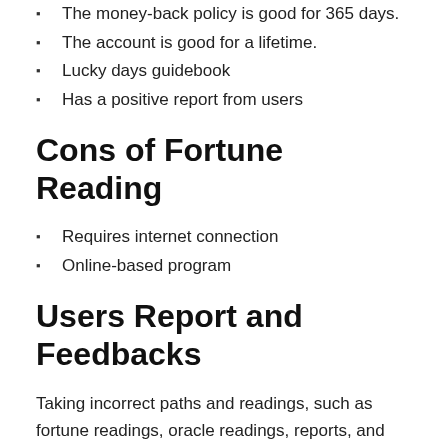The money-back policy is good for 365 days.
The account is good for a lifetime.
Lucky days guidebook
Has a positive report from users
Cons of Fortune Reading
Requires internet connection
Online-based program
Users Report and Feedbacks
Taking incorrect paths and readings, such as fortune readings, oracle readings, reports, and others more only makes users bored and frustrated. But, with the Fortune Reading software, many users have tried it, and they have been satisfied and fulfilled their joyful experience with this product.